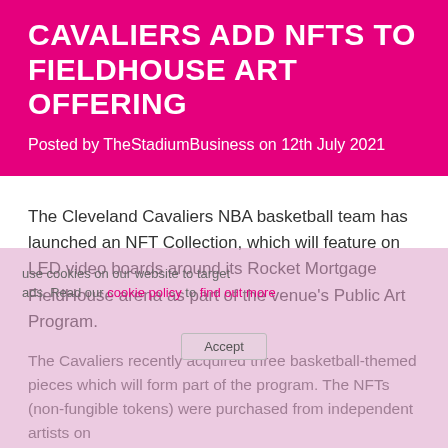CAVALIERS ADD NFTS TO FIELDHOUSE ART OFFERING
Posted by TheStadiumBusiness on 12th July 2021
The Cleveland Cavaliers NBA basketball team has launched an NFT Collection, which will feature on LED video boards around its Rocket Mortgage FieldHouse arena as part of the venue's Public Art Program.
The Cavaliers recently acquired three basketball-themed pieces which will form part of the program. The NFTs (non-fungible tokens) were purchased from independent artists on